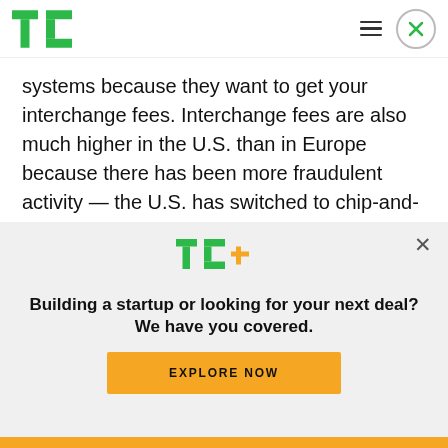TechCrunch
systems because they want to get your interchange fees. Interchange fees are also much higher in the U.S. than in Europe because there has been more fraudulent activity — the U.S. has switched to chip-and-pin cards years after Europe.
An increase in interchange fees could also affect
[Figure (logo): TechCrunch TC+ logo in green and yellow]
Building a startup or looking for your next deal? We have you covered.
EXPLORE NOW